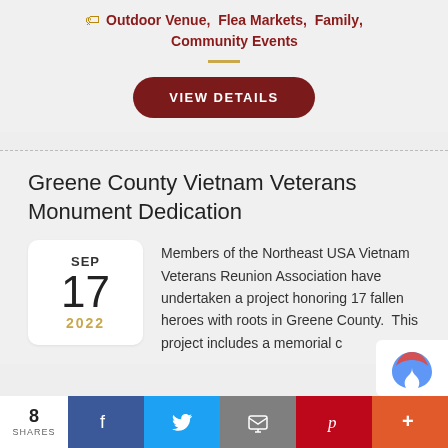Outdoor Venue, Flea Markets, Family, Community Events
VIEW DETAILS
Greene County Vietnam Veterans Monument Dedication
SEP 17 2022
Members of the Northeast USA Vietnam Veterans Reunion Association have undertaken a project honoring 17 fallen heroes with roots in Greene County. This project includes a memorial c
8 SHARES